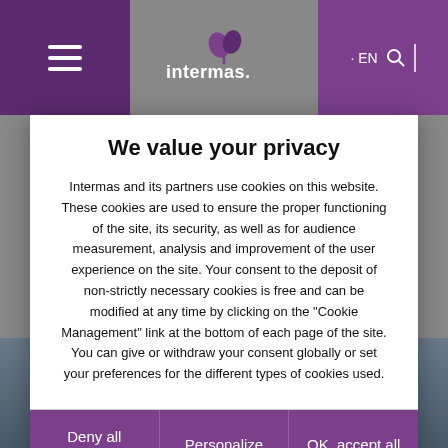[Figure (screenshot): Website header bar with purple background, hamburger menu icon on the left, Intermas logo in center, EN language toggle and search icon on right]
We value your privacy
Intermas and its partners use cookies on this website. These cookies are used to ensure the proper functioning of the site, its security, as well as for audience measurement, analysis and improvement of the user experience on the site. Your consent to the deposit of non-strictly necessary cookies is free and can be modified at any time by clicking on the "Cookie Management" link at the bottom of each page of the site. You can give or withdraw your consent globally or set your preferences for the different types of cookies used.
Deny all cookies
Personalize
OK, accept all
[Figure (photo): Background photo of workers/people in industrial setting, partially visible behind the cookie consent modal]